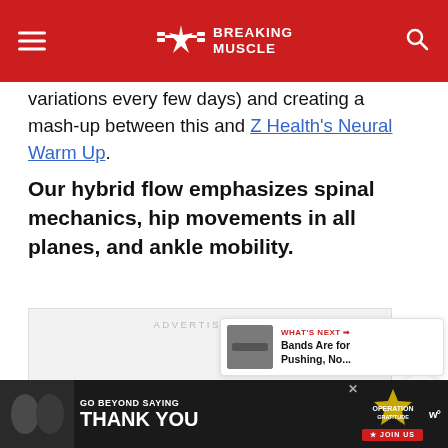Breaking Muscle
variations every few days) and creating a mash-up between this and Z Health's Neural Warm Up.
Our hybrid flow emphasizes spinal mechanics, hip movements in all planes, and ankle mobility.
[Figure (other): Advertisement placeholder box with label ADVERTISEMENT]
[Figure (other): What's Next card: Bands Are for Pushing, No...]
[Figure (other): Bottom advertisement banner: Operation Gratitude - Go Beyond Saying Thank You, Join Us]